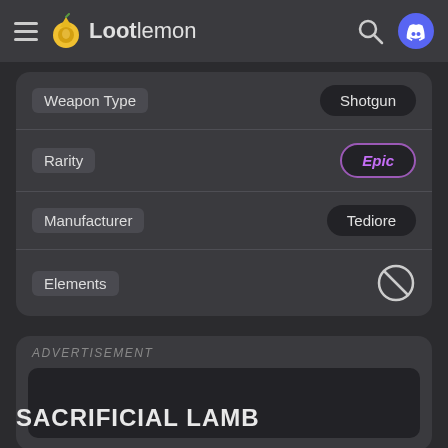Lootlemon
| Property | Value |
| --- | --- |
| Weapon Type | Shotgun |
| Rarity | Epic |
| Manufacturer | Tediore |
| Elements |  |
ADVERTISEMENT
SACRIFICIAL LAMB